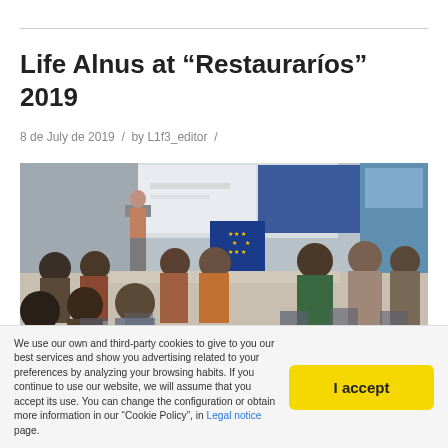Life Alnus at “Restauaríos” 2019
8 de July de 2019 / by L1f3_editor /
[Figure (photo): Conference or seminar room with audience seated in chairs facing a presenter at a podium, with a projection screen showing content, and a blue EU flag banner on stage. A banner is visible on the right side. Carousel navigation dots appear at the bottom of the image.]
We use our own and third-party cookies to give to you our best services and show you advertising related to your preferences by analyzing your browsing habits. If you continue to use our website, we will assume that you accept its use. You can change the configuration or obtain more information in our "Cookie Policy", in Legal notice page.